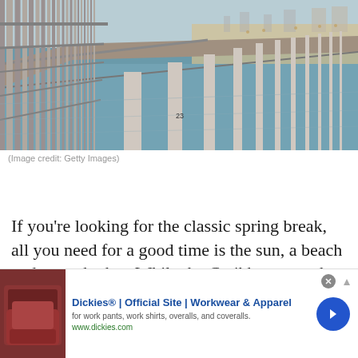[Figure (photo): Aerial or elevated view of a long ocean pier extending over water, with wooden railing visible in foreground and a sandy beach with buildings in the background. Concrete support pillars visible under the pier structure.]
(Image credit: Getty Images)
If you're looking for the classic spring break, all you need for a good time is the sun, a beach and a nearby bar. While the Caribbean may be out of your price range,
[Figure (screenshot): Advertisement banner for Dickies. Shows a red/brown leather chair image on left, bold blue text 'Dickies® | Official Site | Workwear & Apparel', subtitle 'for work pants, work shirts, overalls, and coveralls.', URL www.dickies.com in green, a blue circular arrow button on right, and an X close button.]